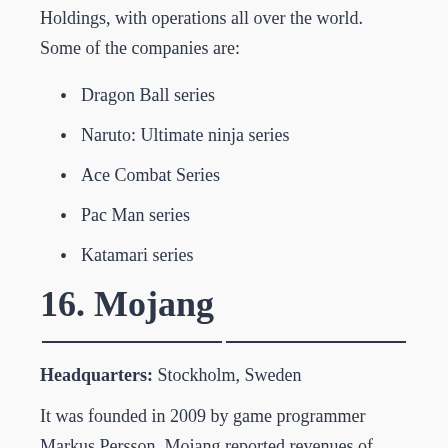Holdings, with operations all over the world. Some of the companies are:
Dragon Ball series
Naruto: Ultimate ninja series
Ace Combat Series
Pac Man series
Katamari series
16. Mojang
Headquarters: Stockholm, Sweden
It was founded in 2009 by game programmer Markus Persson. Mojang reported revenues of 2.069Billion SEK in 2014. The company was